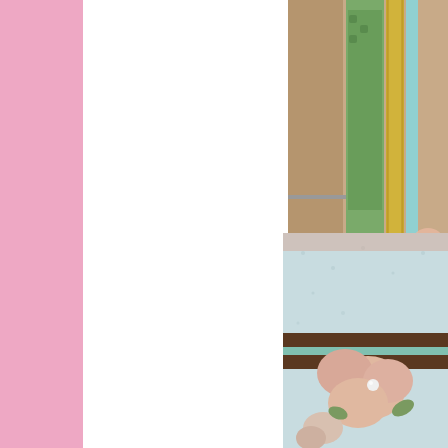[Figure (photo): Photo of cardboard/chipboard pieces with green patterned paper, gold metallic ribbon, and pink floral embellishments, top right corner]
The gang's all here!!!  Loving the TV!  More brushed on paint, c
[Figure (photo): Close-up photo of light blue textured background with brown ribbon trim, pink/peach flower embellishments with pearl center, bottom right corner]